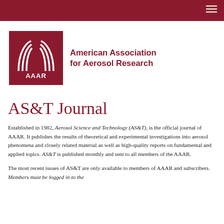AAAR navigation bar
[Figure (logo): AAAR logo — white stylized arcs forming a bracket-like symbol above the text AAAR on a dark red background]
American Association for Aerosol Research
AS&T Journal
Established in 1982, Aerosol Science and Technology (AS&T), is the official journal of AAAR. It publishes the results of theoretical and experimental investigations into aerosol phenomena and closely related material as well as high-quality reports on fundamental and applied topics. AS&T is published monthly and sent to all members of the AAAR.
The most recent issues of AS&T are only available to members of AAAR and subscribers. Members must be logged in to the